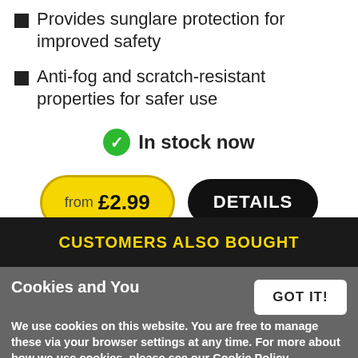Provides sunglare protection for improved safety
Anti-fog and scratch-resistant properties for safer use
In stock now
from £2.99
DETAILS
CUSTOMERS ALSO BOUGHT
Cookies and You
We use cookies on this website. You are free to manage these via your browser settings at any time. For more about how we use cookies, please see our Cookie Policy.
GOT IT!